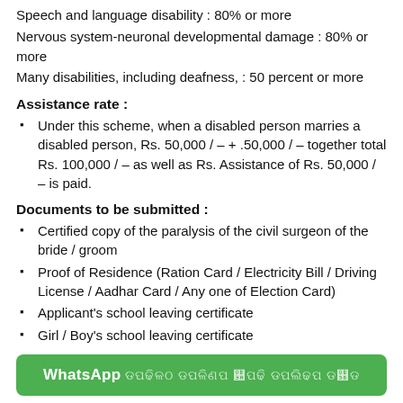Speech and language disability : 80% or more
Nervous system-neuronal developmental damage : 80% or more
Many disabilities, including deafness, : 50 percent or more
Assistance rate :
Under this scheme, when a disabled person marries a disabled person, Rs. 50,000 / – + .50,000 / – together total Rs. 100,000 / – as well as Rs. Assistance of Rs. 50,000 / – is paid.
Documents to be submitted :
Certified copy of the paralysis of the civil surgeon of the bride / groom
Proof of Residence (Ration Card / Electricity Bill / Driving License / Aadhar Card / Any one of Election Card)
Applicant's school leaving certificate
Girl / Boy's school leaving certificate
[Figure (other): WhatsApp banner button with Gujarati text]